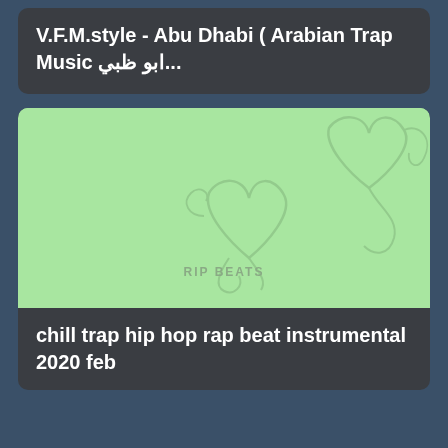V.F.M.style - Abu Dhabi ( Arabian Trap Music ابو ظبي...
[Figure (illustration): Light green thumbnail image with decorative cursive heart/flourish designs in grey and the text 'RIP BEATS' at the bottom center]
chill trap hip hop rap beat instrumental 2020 feb